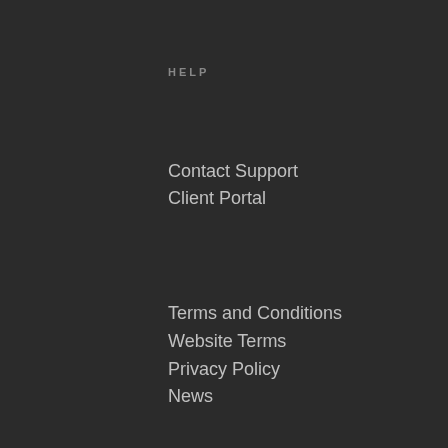HELP
Contact Support
Client Portal
Terms and Conditions
Website Terms
Privacy Policy
News
SERVICES
IT Solutions
Cloud Services
IT Support
RECENT POST